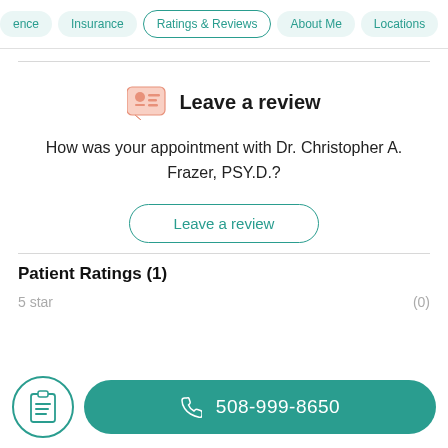ence  Insurance  Ratings & Reviews  About Me  Locations
Leave a review
How was your appointment with Dr. Christopher A. Frazer, PSY.D.?
Leave a review
Patient Ratings (1)
5 star  (0)
508-999-8650